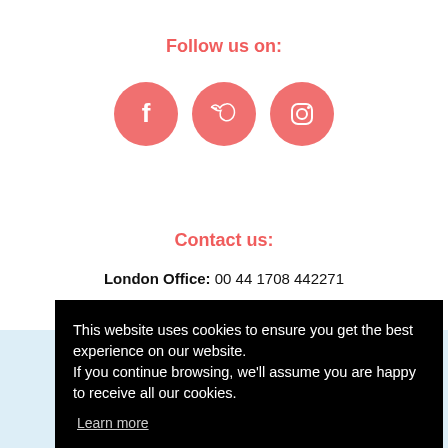Follow us on:
[Figure (illustration): Three salmon/red circular social media icons: Facebook, Twitter, Instagram]
Contact us:
London Office: 00 44 1708 442271
This website uses cookies to ensure you get the best experience on our website. If you continue browsing, we'll assume you are happy to receive all our cookies.
Learn more
Got it!